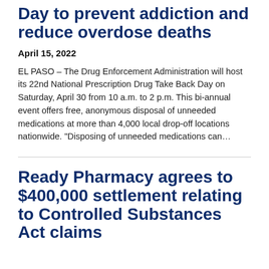Day to prevent addiction and reduce overdose deaths
April 15, 2022
EL PASO – The Drug Enforcement Administration will host its 22nd National Prescription Drug Take Back Day on Saturday, April 30 from 10 a.m. to 2 p.m. This bi-annual event offers free, anonymous disposal of unneeded medications at more than 4,000 local drop-off locations nationwide. “Disposing of unneeded medications can…
Ready Pharmacy agrees to $400,000 settlement relating to Controlled Substances Act claims